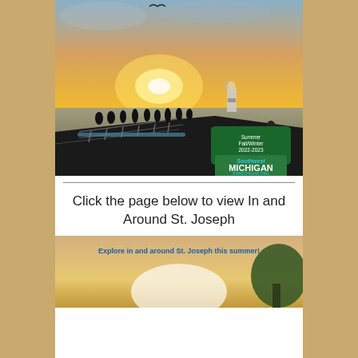[Figure (photo): Sunset photo of a pier/boardwalk with silhouetted people walking, a lighthouse in the background, and a bird in the sky. Overlaid text reads 'Summer Fall/Winter 2022-2023' and a Southwest Michigan SWMICHIGAN.ORG logo badge.]
Click the page below to view In and Around St. Joseph
[Figure (photo): Partial view of another page showing a sunset/outdoor scene with text 'Explore in and around St. Joseph this summer!']